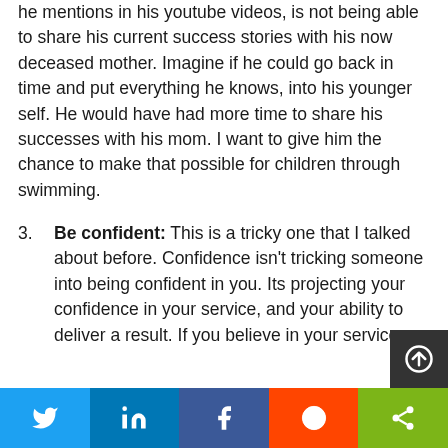he mentions in his youtube videos, is not being able to share his current success stories with his now deceased mother. Imagine if he could go back in time and put everything he knows, into his younger self. He would have had more time to share his successes with his mom. I want to give him the chance to make that possible for children through swimming.
Be confident: This is a tricky one that I talked about before. Confidence isn't tricking someone into being confident in you. Its projecting your confidence in your service, and your ability to deliver a result. If you believe in your service on the...